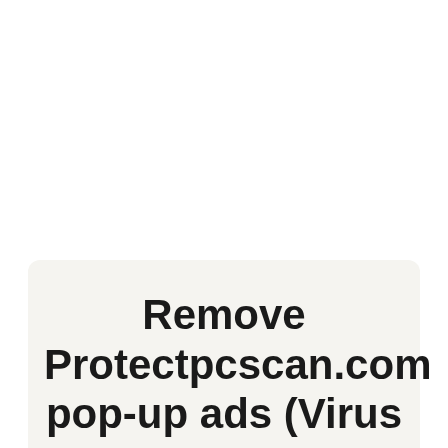Remove Protectpcscan.com pop-up ads (Virus